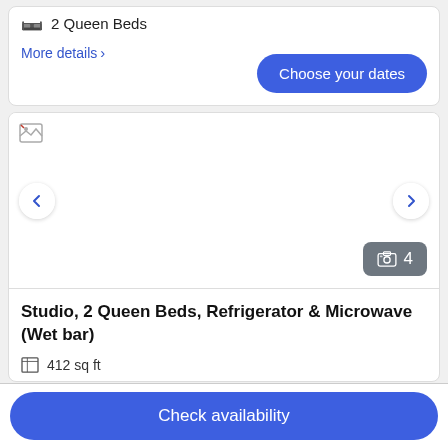2 Queen Beds
More details >
Choose your dates
[Figure (photo): Hotel room photo with navigation arrows and photo count badge showing 4 photos]
Studio, 2 Queen Beds, Refrigerator & Microwave (Wet bar)
412 sq ft
Check availability